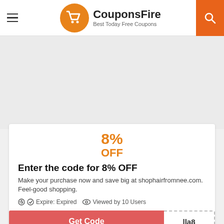CouponsFire — Best Today Free Coupons
[Figure (other): Gray banner/advertisement placeholder area]
8% OFF
Enter the code for 8% OFF
Make your purchase now and save big at shophairfromnee.com. Feel-good shopping.
Expire: Expired   Viewed by 10 Users
Get Code   lla8